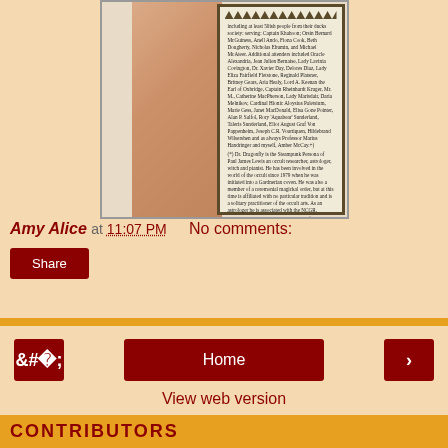[Figure (photo): Scanned page from a book with zigzag border decoration showing text about contributors and biographical notes about Dr. Dragonfly and Amber McCay]
Amy Alice at 11:07 PM   No comments:
Share
Home
View web version
CONTRIBUTORS